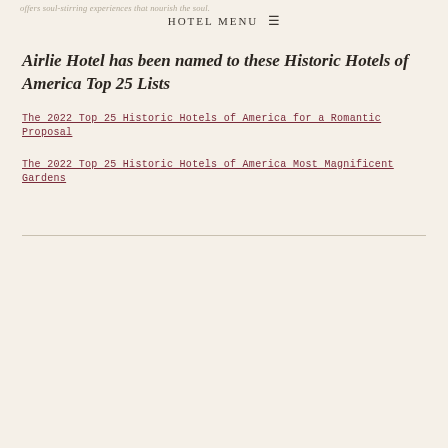offers soul-stirring experiences that nourish the soul.
HOTEL MENU ≡
Airlie Hotel has been named to these Historic Hotels of America Top 25 Lists
The 2022 Top 25 Historic Hotels of America for a Romantic Proposal
The 2022 Top 25 Historic Hotels of America Most Magnificent Gardens